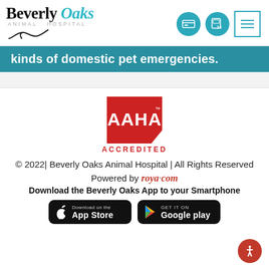[Figure (logo): Beverly Oaks Animal Hospital logo with stylized text and snake icon]
kinds of domestic pet emergencies.
[Figure (logo): AAHA Accredited logo - red badge with AAHA text and ACCREDITED below]
© 2022| Beverly Oaks Animal Hospital | All Rights Reserved
Powered by roya.com
Download the Beverly Oaks App to your Smartphone
[Figure (logo): App Store and Google Play download buttons]
[Figure (logo): Accessibility icon button (red circle with person icon)]